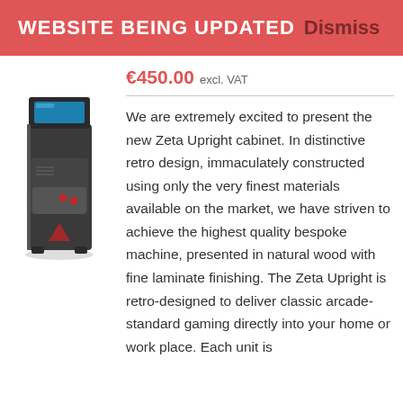WEBSITE BEING UPDATED Dismiss
€450.00 excl. VAT
[Figure (photo): Zeta Upright arcade cabinet, black metal housing with retro design, shown from front-left angle]
We are extremely excited to present the new Zeta Upright cabinet. In distinctive retro design, immaculately constructed using only the very finest materials available on the market, we have striven to achieve the highest quality bespoke machine, presented in natural wood with fine laminate finishing. The Zeta Upright is retro-designed to deliver classic arcade-standard gaming directly into your home or work place. Each unit is